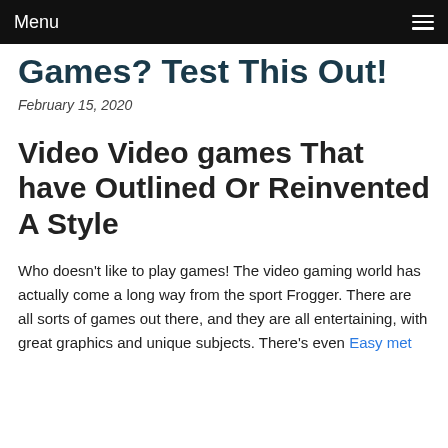Menu
Games? Test This Out!
February 15, 2020
Video Video games That have Outlined Or Reinvented A Style
Who doesn't like to play games! The video gaming world has actually come a long way from the sport Frogger. There are all sorts of games out there, and they are all entertaining, with great graphics and unique subjects. There's even Easy met